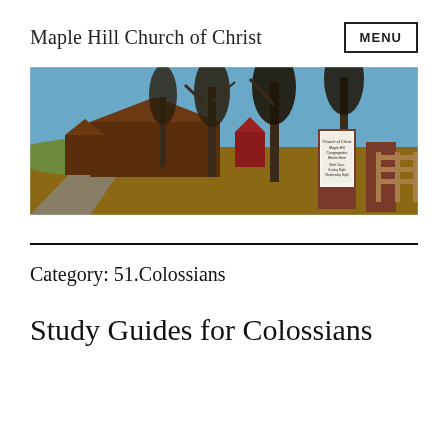Maple Hill Church of Christ
[Figure (photo): Outdoor photograph of Maple Hill Church of Christ showing a brown building on a hill with trees, a driveway, a brick sign reading 'Church of Christ Maple Hill Congregation Meets Here' with service times listed, and a wooden fence on the right side. Winter scene with bare trees and a blue sky.]
Category: 51.Colossians
Study Guides for Colossians